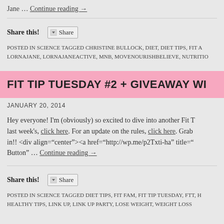Jane … Continue reading →
Share this!  Share
POSTED IN SCIENCE TAGGED CHRISTINE BULLOCK, DIET, DIET TIPS, FIT A LORNAJANE, LORNAJANEACTIVE, MNB, MOVENOURISHBELIEVE, NUTRITIO
FIT TIP TUESDAY #2 + GIVEAWAY WI
JANUARY 20, 2014
Hey everyone! I'm (obviously) so excited to dive into another Fit T last week's, click here. For an update on the rules, click here. Grab in!! <div align="center"><a href="http://wp.me/p2Txti-ha" title= Button" … Continue reading →
Share this!  Share
POSTED IN SCIENCE TAGGED DIET TIPS, FIT FAM, FIT TIP TUESDAY, FTT, H HEALTHY TIPS, LINK UP, LINK UP PARTY, LOSE WEIGHT, WEIGHT LOSS